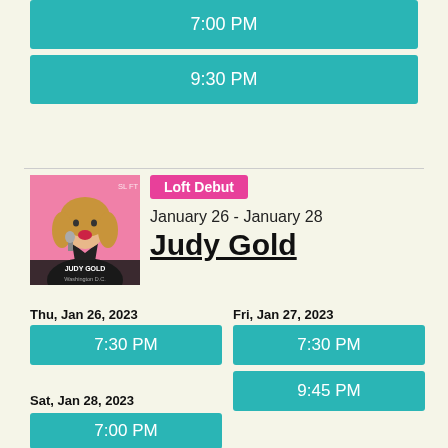7:00 PM
9:30 PM
[Figure (photo): Promotional photo of Judy Gold: woman with curly hair holding microphone, pink background, text 'JUDY GOLD Washington D.C.' at bottom, 'SL FT' watermark top right]
Loft Debut
January 26 - January 28
Judy Gold
Thu, Jan 26, 2023
7:30 PM
Fri, Jan 27, 2023
7:30 PM
9:45 PM
Sat, Jan 28, 2023
7:00 PM
9:30 PM